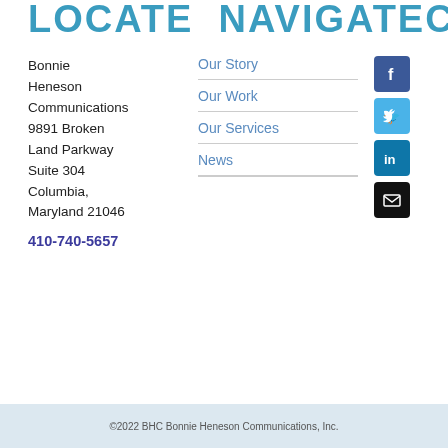LOCATE  NAVIGATECONNEC
Bonnie Heneson Communications
9891 Broken Land Parkway
Suite 304
Columbia, Maryland 21046
410-740-5657
Our Story
Our Work
Our Services
News
[Figure (other): Social media icons: Facebook, Twitter, LinkedIn, Email]
©2022 BHC Bonnie Heneson Communications, Inc.